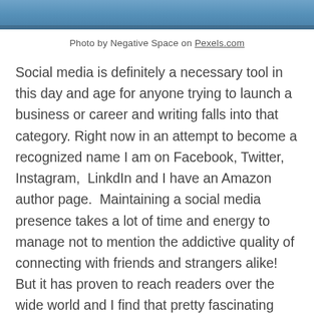[Figure (photo): Top portion of a photo showing a person, cropped — only the bottom edge visible as a blue/teal colored strip]
Photo by Negative Space on Pexels.com
Social media is definitely a necessary tool in this day and age for anyone trying to launch a business or career and writing falls into that category. Right now in an attempt to become a recognized name I am on Facebook, Twitter, Instagram,  LinkdIn and I have an Amazon author page.  Maintaining a social media presence takes a lot of time and energy to manage not to mention the addictive quality of connecting with friends and strangers alike! But it has proven to reach readers over the wide world and I find that pretty fascinating and sometimes a bit daunting. Still, I want my work to resonant with more readers than just my inner circle (who have been amazingly supportive and